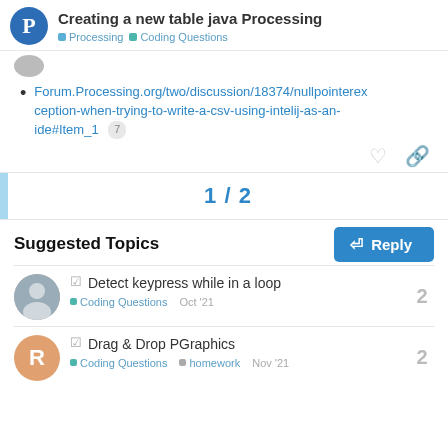Creating a new table java Processing — Processing | Coding Questions
Forum.Processing.org/two/discussion/18374/nullpointerexception-when-trying-to-write-a-csv-using-intelij-as-an-ide#Item_1 7
1 / 2
Reply
Suggested Topics
Detect keypress while in a loop — Coding Questions — Oct '21 — 2
Drag & Drop PGraphics — Coding Questions | homework — Nov '21 — 2